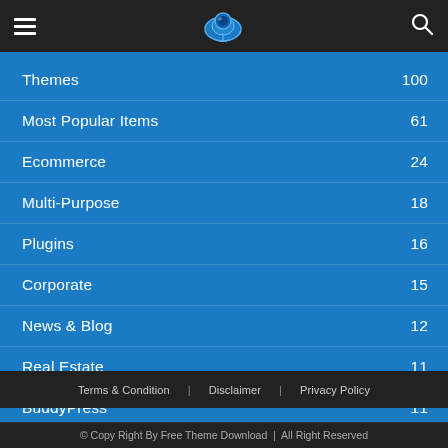Free Theme Download (logo/header navigation)
Themes 100
Most Popular Items 61
Ecommerce 24
Multi-Purpose 18
Plugins 16
Corporate 15
News & Blog 12
Real Estate 11
BuddyPress 11
Terms & Condition | Disclaimer | Privacy Policy
© Copy Right By Free Theme Download | All Right Reserved